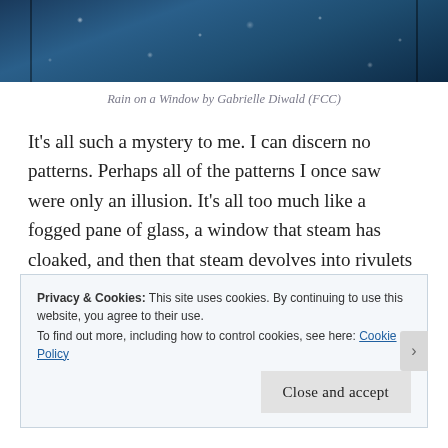[Figure (photo): Rain on a window — dark blue-toned photograph showing water droplets and condensation on glass]
Rain on a Window by Gabrielle Diwald (FCC)
It's all such a mystery to me. I can discern no patterns. Perhaps all of the patterns I once saw were only an illusion. It's all too much like a fogged pane of glass, a window that steam has cloaked, and then that steam devolves into rivulets that run down the pane so quickly to nothing.
Privacy & Cookies: This site uses cookies. By continuing to use this website, you agree to their use.
To find out more, including how to control cookies, see here: Cookie Policy
Close and accept